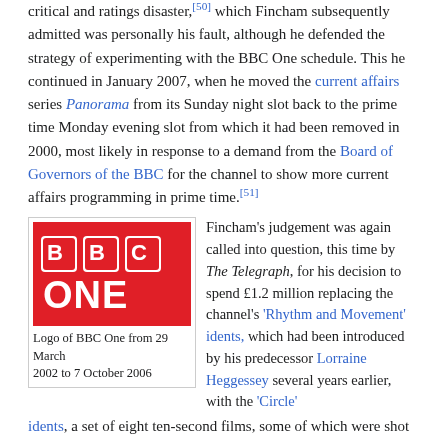critical and ratings disaster,[50] which Fincham subsequently admitted was personally his fault, although he defended the strategy of experimenting with the BBC One schedule. This he continued in January 2007, when he moved the current affairs series Panorama from its Sunday night slot back to the prime time Monday evening slot from which it had been removed in 2000, most likely in response to a demand from the Board of Governors of the BBC for the channel to show more current affairs programming in prime time.[51]
[Figure (logo): BBC One logo — red background with white BBC blocks and ONE text]
Logo of BBC One from 29 March 2002 to 7 October 2006
Fincham's judgement was again called into question, this time by The Telegraph, for his decision to spend £1.2 million replacing the channel's 'Rhythm and Movement' idents, which had been introduced by his predecessor Lorraine Heggessey several years earlier, with the 'Circle' idents, a set of eight ten-second films, some of which were shot...